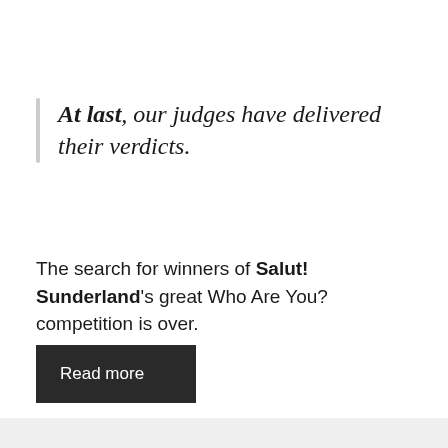At last, our judges have delivered their verdicts.
The search for winners of Salut! Sunderland's great Who Are You? competition is over.
Read more